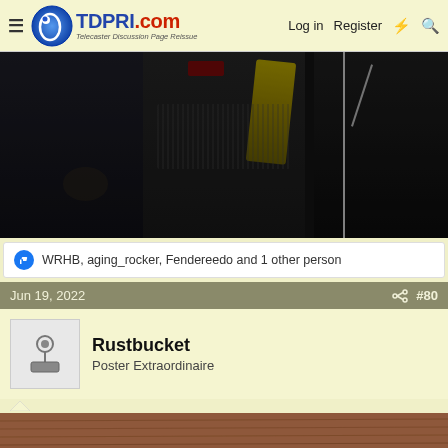TDPRI.com - Telecaster Discussion Page Reissue | Log in | Register
[Figure (photo): Concert photo showing musicians on stage with dark background, guitar strap visible, microphone stand, Marshall amp]
WRHB, aging_rocker, Fendereedo and 1 other person
Jun 19, 2022  #80
Rustbucket
Poster Extraordinaire
[Figure (photo): Close-up photo of wood grain surface, reddish-brown tones]